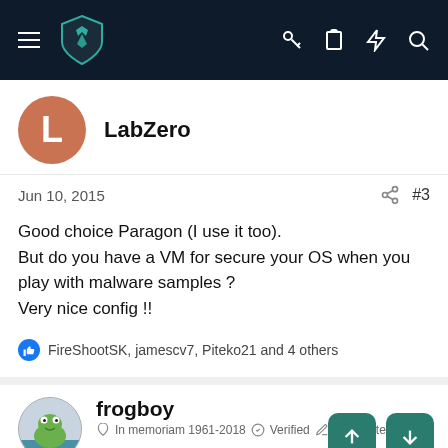Navigation bar with logo and icons
LabZero
Jun 10, 2015  #3
Good choice Paragon (I use it too).
But do you have a VM for secure your OS when you play with malware samples ?
Very nice config !!
FireShootSK, jamescv7, Piteko21 and 4 others
frogboy
In memoriam 1961-2018  Verified  Top poster